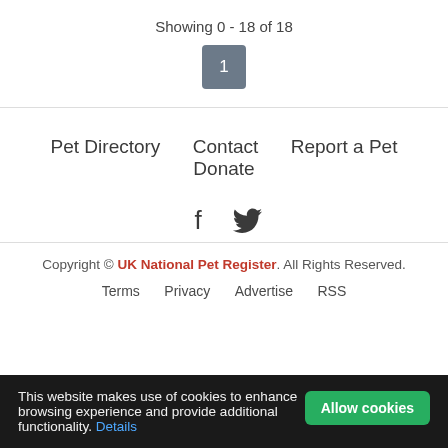Showing 0 - 18 of 18
1
Pet Directory   Contact   Report a Pet   Donate
[Figure (other): Facebook and Twitter social media icons]
Copyright © UK National Pet Register. All Rights Reserved.
Terms   Privacy   Advertise   RSS
This website makes use of cookies to enhance browsing experience and provide additional functionality. Details
Allow cookies